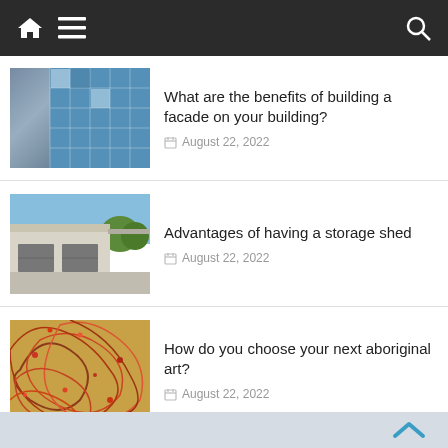Navigation bar with home, menu, and search icons
[Figure (photo): Glass facade of a building with blue reflective panels]
What are the benefits of building a facade on your building?
August 22, 2022
[Figure (photo): Metal storage shed with roller doors and carport]
Advantages of having a storage shed
August 22, 2022
[Figure (photo): Colorful aboriginal dot art in red, orange and black swirling patterns]
How do you choose your next aboriginal art?
August 22, 2022
Back to top chevron